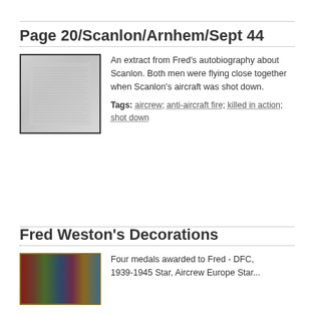Page 20/Scanlon/Arnhem/Sept 44
An extract from Fred's autobiography about Scanlon. Both men were flying close together when Scanlon's aircraft was shot down.
Tags: aircrew; anti-aircraft fire; killed in action; shot down
Fred Weston's Decorations
Four medals awarded to Fred - DFC, 1939-1945 Star, Aircrew Europe Star...